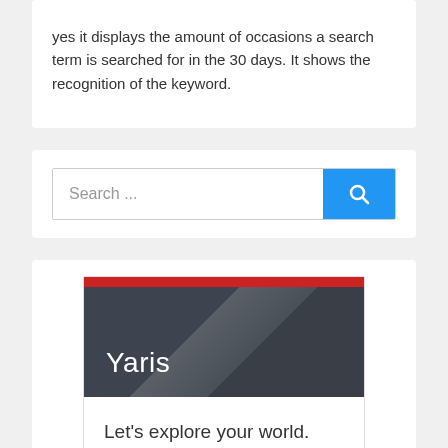yes it displays the amount of occasions a search term is searched for in the 30 days. It shows the recognition of the keyword.
[Figure (screenshot): Search bar widget with text input field reading 'Search ...' and a blue button with a magnifying glass icon on the right]
[Figure (screenshot): Toyota Yaris promotional card with a dark header containing a red bar at top and the word 'Yaris' in white, followed by the tagline 'Let's explore your world.' and a light grey footer area]